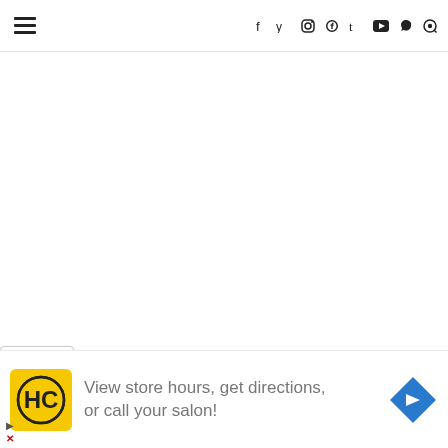Navigation bar with hamburger menu and social icons: f y (instagram) (pinterest) t (youtube) (snapchat) (search)
[Figure (screenshot): Large blank white content area below navigation bar]
may be a personal (Spinach and Mushroom) pie, but it's still
[Figure (infographic): Advertisement banner: HC salon logo in yellow square, text 'View store hours, get directions, or call your salon!', blue diamond direction arrow icon on right]